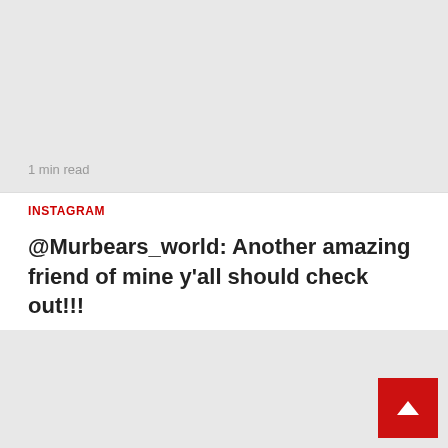[Figure (other): Gray placeholder image area]
1 min read
INSTAGRAM
@Murbears_world: Another amazing friend of mine y'all should check out!!!
[Figure (other): Gray placeholder image area with red scroll-to-top button]